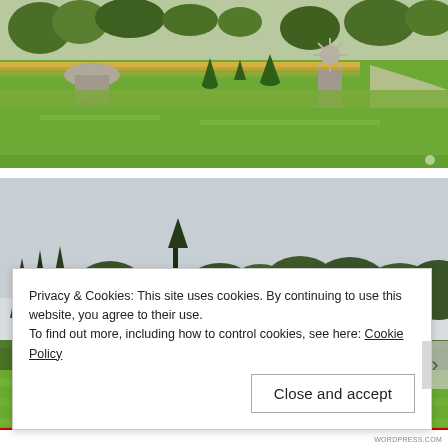[Figure (photo): Formal garden with stone urns, trimmed topiary cones, colorful flower borders, and a gravel path on a green lawn]
[Figure (photo): Open parkland with a large meadow in the foreground, a mix of deciduous and conifer trees in the background under an overcast sky, and a small yellow sign in the middle distance]
Privacy & Cookies: This site uses cookies. By continuing to use this website, you agree to their use.
To find out more, including how to control cookies, see here: Cookie Policy